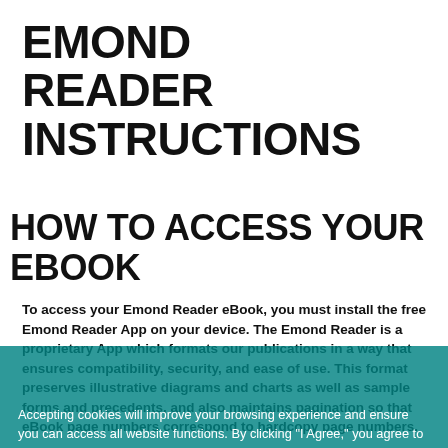EMOND READER INSTRUCTIONS
HOW TO ACCESS YOUR EBOOK
To access your Emond Reader eBook, you must install the free Emond Reader App on your device. The Emond Reader is a proprietary App which formats our publications in a way that ensures compatibility, security, and ease of use. This format preserves illustrative diagrams and charts as well as sample forms and precedents, and also maintains pagination so that eBook page numbers correspond to hardcopy page numbers.
Accepting cookies will improve your browsing experience and ensure you can access all website functions. By clicking "I Agree," you agree to our use of cookies. To learn more, read our updated privacy policy here.